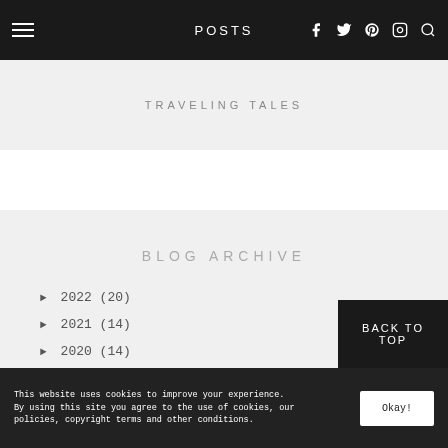POSTS
TRAVELING TALES
BLOG ARCHIVE
► 2022 (20)
► 2021 (14)
► 2020 (14)
► 2019 (44)
► 2018 (56)
► 2017 (62)
BACK TO TOP
This website uses cookies to improve your experience. By using this site you agree to the use of cookies, our policies, copyright terms and other conditions. Okay!